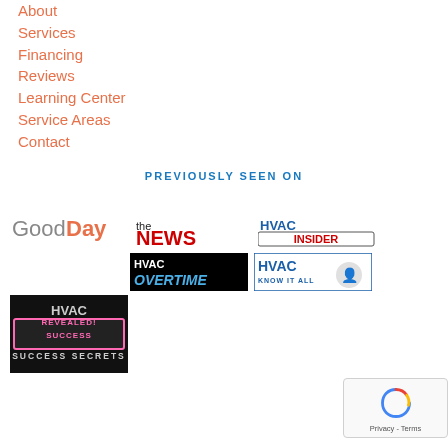About
Services
Financing
Reviews
Learning Center
Service Areas
Contact
PREVIOUSLY SEEN ON
[Figure (logo): GoodDay logo with 'Good' in gray and 'Day' in orange]
[Figure (logo): the NEWS logo with 'the' in black and 'NEWS' in red]
[Figure (logo): HVAC INSIDER logo in blue and red on white background]
[Figure (logo): HVAC OVERTIME logo in white/blue on black background]
[Figure (logo): HVAC KNOW IT ALL logo in blue with figure graphic]
[Figure (logo): HVAC REVEALED SUCCESS SECRETS logo black background with pink text]